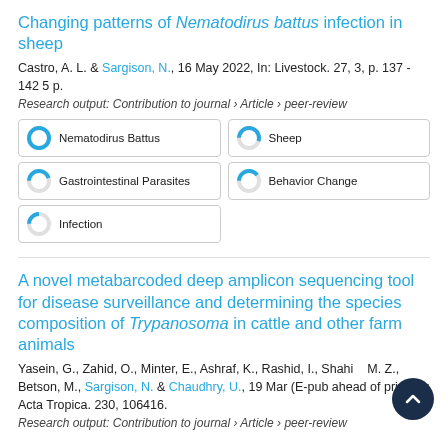Changing patterns of Nematodirus battus infection in sheep
Castro, A. L. & Sargison, N., 16 May 2022, In: Livestock. 27, 3, p. 137 - 142 5 p.
Research output: Contribution to journal › Article › peer-review
[Figure (infographic): Five keyword badges: Nematodirus Battus (100%), Sheep (~55%), Gastrointestinal Parasites (~45%), Behavior Change (~40%), Infection (~25%)]
A novel metabarcoded deep amplicon sequencing tool for disease surveillance and determining the species composition of Trypanosoma in cattle and other farm animals
Yasein, G., Zahid, O., Minter, E., Ashraf, K., Rashid, I., Shahid, M. Z., Betson, M., Sargison, N. & Chaudhry, U., 19 Mar (E-pub ahead of print) In: Acta Tropica. 230, 106416.
Research output: Contribution to journal › Article › peer-review